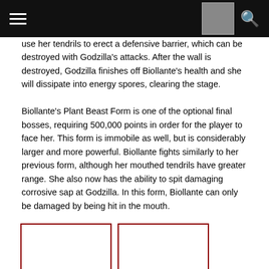[Navigation bar with hamburger menu, thumbnail image, and search icon]
use her tendrils to erect a defensive barrier, which can be destroyed with Godzilla's attacks. After the wall is destroyed, Godzilla finishes off Biollante's health and she will dissipate into energy spores, clearing the stage.
Biollante's Plant Beast Form is one of the optional final bosses, requiring 500,000 points in order for the player to face her. This form is immobile as well, but is considerably larger and more powerful. Biollante fights similarly to her previous form, although her mouthed tendrils have greater range. She also now has the ability to spit damaging corrosive sap at Godzilla. In this form, Biollante can only be damaged by being hit in the mouth.
[Figure (photo): Biollante's Flower Beast Form battles Godzilla - placeholder image box with dark red border]
[Figure (photo): Biollante's Plant Beast Form fights Godzilla - placeholder image box with dark red border]
Biollante's Flower Beast Form battles Godzilla.
Biollante's Plant Beast Form fights Godzilla.